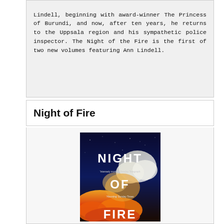Lindell, beginning with award-winner The Princess of Burundi, and now, after ten years, he returns to the Uppsala region and his sympathetic police inspector. The Night of the Fire is the first of two new volumes featuring Ann Lindell.
Night of Fire
[Figure (photo): Book cover of 'Night of Fire' showing the title in white text over a dramatic image of fire and smoke clouds against a dark blue night sky background, with review quotes visible.]